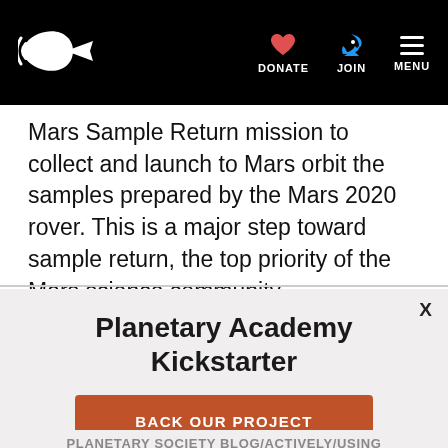Planetary Society — DONATE | JOIN | MENU
Mars Sample Return mission to collect and launch to Mars orbit the samples prepared by the Mars 2020 rover. This is a major step toward sample return, the top priority of the Mars science community.
Planetary Academy Kickstarter
BACK OUR PROJECT
PLANETARY SOCIETY [PARTIALLY VISIBLE]